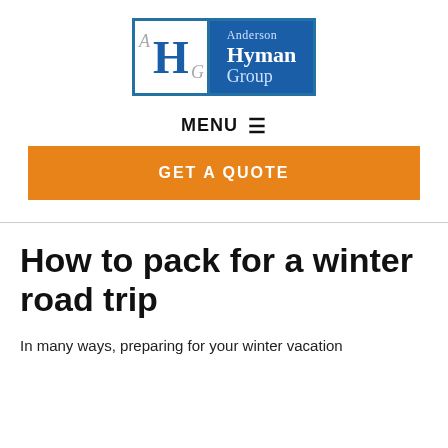[Figure (logo): Anderson Hyman Group logo with blue border box, white left panel with AHG letters and blue H, and dark blue right panel with company name in white serif text.]
MENU ☰
GET A QUOTE
How to pack for a winter road trip
In many ways, preparing for your winter vacation